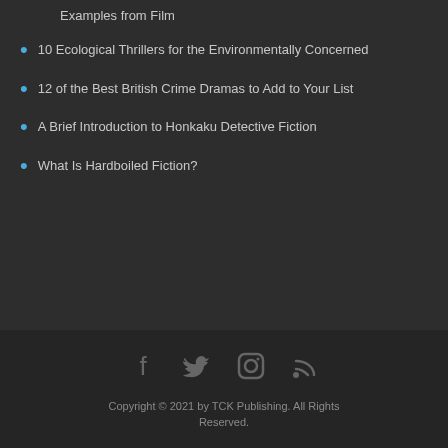Examples from Film
10 Ecological Thrillers for the Environmentally Concerned
12 of the Best British Crime Dramas to Add to Your List
A Brief Introduction to Honkaku Detective Fiction
What Is Hardboiled Fiction?
Copyright © 2021 by TCK Publishing. All Rights Reserved.